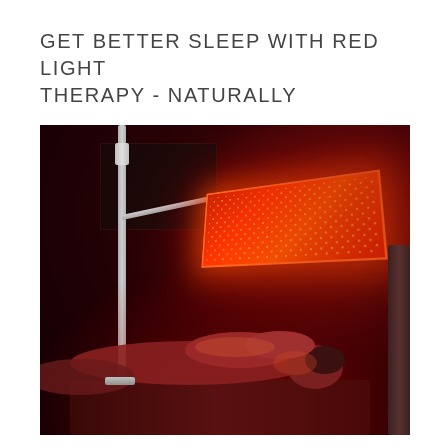GET BETTER SLEEP WITH RED LIGHT THERAPY - NATURALLY
[Figure (photo): A person lying face-down on a bed or surface in a dark room, illuminated by a large red LED light therapy panel mounted on a white stand above them. The panel emits a bright red-orange glow casting red light across the room and the person's back.]